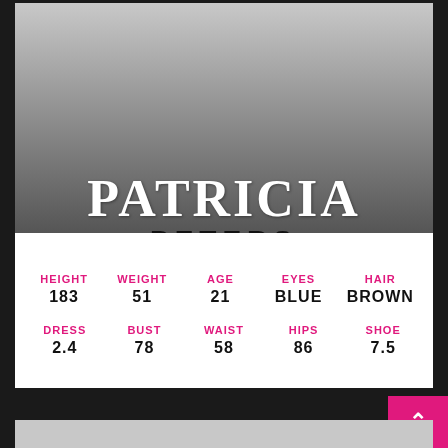[Figure (photo): Model photo placeholder — grey gradient background (no visible person shown)]
PATRICIA PETERS
| HEIGHT | WEIGHT | AGE | EYES | HAIR |
| --- | --- | --- | --- | --- |
| 183 | 51 | 21 | BLUE | BROWN |
| DRESS | BUST | WAIST | HIPS | SHOE |
| 2.4 | 78 | 58 | 86 | 7.5 |